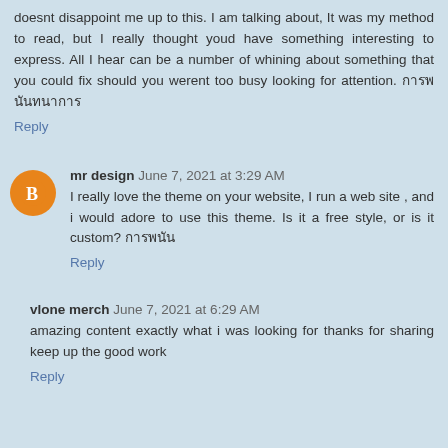doesnt disappoint me up to this. I am talking about, It was my method to read, but I really thought youd have something interesting to express. All I hear can be a number of whining about something that you could fix should you werent too busy looking for attention. การพ นันทนาการ
Reply
mr design  June 7, 2021 at 3:29 AM
I really love the theme on your website, I run a web site , and i would adore to use this theme. Is it a free style, or is it custom? การพนัน
Reply
vlone merch  June 7, 2021 at 6:29 AM
amazing content exactly what i was looking for thanks for sharing keep up the good work
Reply